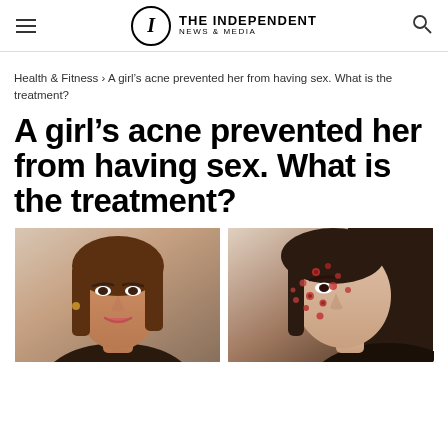THE INDEPENDENT NEWS & MEDIA
Health & Fitness › A girl's acne prevented her from having sex. What is the treatment?
A girl's acne prevented her from having sex. What is the treatment?
[Figure (photo): Two side-by-side photos: left shows a woman with clear skin smiling, right shows a person's face with severe acne.]